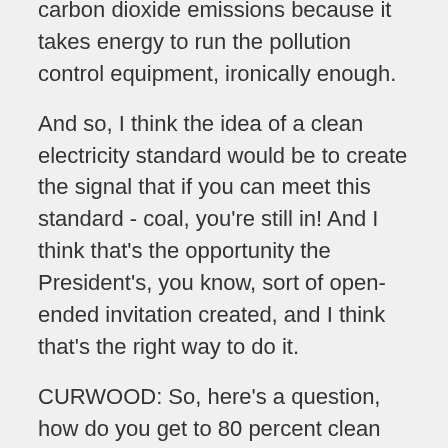carbon dioxide emissions because it takes energy to run the pollution control equipment, ironically enough.
And so, I think the idea of a clean electricity standard would be to create the signal that if you can meet this standard - coal, you're still in! And I think that's the opportunity the President's, you know, sort of open-ended invitation created, and I think that's the right way to do it.
CURWOOD: So, here's a question, how do you get to 80 percent clean energy in the next 25 years without a cap-and-trade program to price carbon and to send the market signals?
CONNAUGHTON: This is Jim Connaughton. There are actually many different ways to achieve a market-based policy outcome. Cap and trade is one of them. It's one that I personally prefer, if it's done right, prior proposals were not very well done. On the other hand, a clean